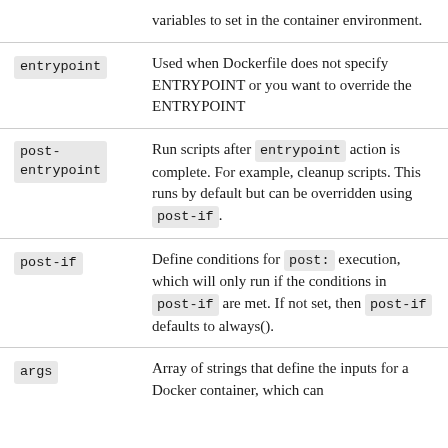| Key | Description |
| --- | --- |
|  | variables to set in the container environment. |
| entrypoint | Used when Dockerfile does not specify ENTRYPOINT or you want to override the ENTRYPOINT |
| post-
entrypoint | Run scripts after entrypoint action is complete. For example, cleanup scripts. This runs by default but can be overridden using post-if. |
| post-if | Define conditions for post: execution, which will only run if the conditions in post-if are met. If not set, then post-if defaults to always(). |
| args | Array of strings that define the inputs for a Docker container, which can |